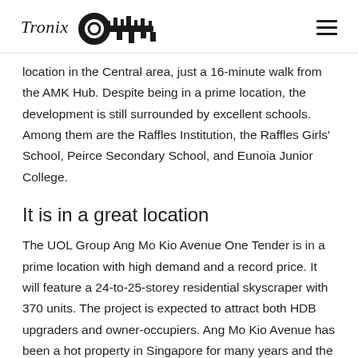Tronix [logo with key icon]
location in the Central area, just a 16-minute walk from the AMK Hub. Despite being in a prime location, the development is still surrounded by excellent schools. Among them are the Raffles Institution, the Raffles Girls' School, Peirce Secondary School, and Eunoia Junior College.
It is in a great location
The UOL Group Ang Mo Kio Avenue One Tender is in a prime location with high demand and a record price. It will feature a 24-to-25-storey residential skyscraper with 370 units. The project is expected to attract both HDB upgraders and owner-occupiers. Ang Mo Kio Avenue has been a hot property in Singapore for many years and the new development will be a bit.